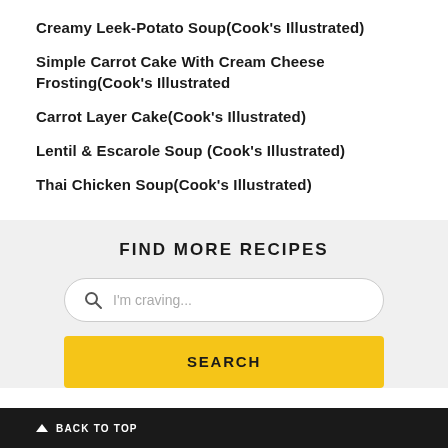Creamy Leek-Potato Soup(Cook's Illustrated)
Simple Carrot Cake With Cream Cheese Frosting(Cook's Illustrated
Carrot Layer Cake(Cook's Illustrated)
Lentil & Escarole Soup (Cook's Illustrated)
Thai Chicken Soup(Cook's Illustrated)
FIND MORE RECIPES
I'm craving...
SEARCH
BACK TO TOP